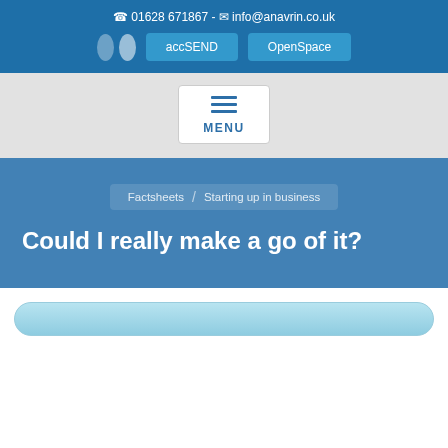01628 671867 - info@anavrin.co.uk | accSEND | OpenSpace
MENU
Factsheets / Starting up in business
Could I really make a go of it?